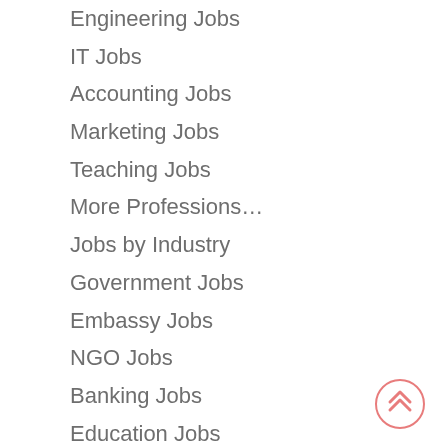Engineering Jobs
IT Jobs
Accounting Jobs
Marketing Jobs
Teaching Jobs
More Professions…
Jobs by Industry
Government Jobs
Embassy Jobs
NGO Jobs
Banking Jobs
Education Jobs
Medical Jobs
More Industries…
Jobs by Organization
Army Jobs
[Figure (illustration): Pink circular scroll-to-top button with double upward chevron arrows]